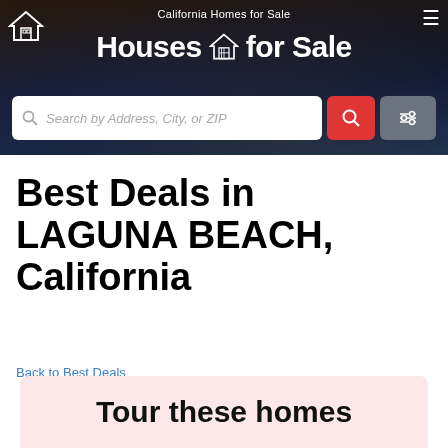California Homes for Sale
Houses for Sale
Search by Address, City, or ZIP
Best Deals in LAGUNA BEACH, California
Back to Best Deals
Tour these homes